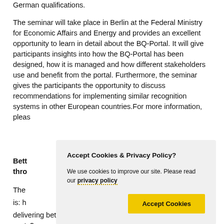German qualifications.

The seminar will take place in Berlin at the Federal Ministry for Economic Affairs and Energy and provides an excellent opportunity to learn in detail about the BQ-Portal. It will give participants insights into how the BQ-Portal has been designed, how it is managed and how different stakeholders use and benefit from the portal. Furthermore, the seminar gives the participants the opportunity to discuss recommendations for implementing similar recognition systems in other European countries.For more information, pleas
Better public services through digital transformation
The ... is: h... delivering better services and outcomes at significantly lower costs?
[Figure (screenshot): Cookie and Privacy Policy dialog box overlaying the page content. Contains title 'Accept Cookies & Privacy Policy?', body text 'We use cookies to improve our site. Please read our privacy policy', and a yellow 'Accept Cookies' button.]